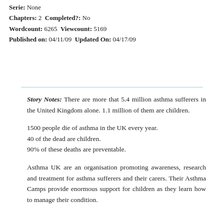Serie: None
Chapters: 2 Completed?: No
Wordcount: 6265 Viewcount: 5169
Published on: 04/11/09 Updated On: 04/17/09
Story Notes: There are more that 5.4 million asthma sufferers in the United Kingdom alone. 1.1 million of them are children.

1500 people die of asthma in the UK every year.
40 of the dead are children.
90% of these deaths are preventable.

Asthma UK are an organisation promoting awareness, research and treatment for asthma sufferers and their carers. Their Asthma Camps provide enormous support for children as they learn how to manage their condition.